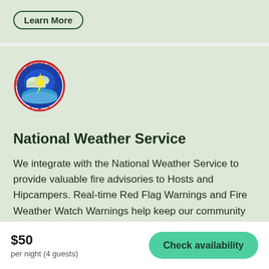Learn More
[Figure (logo): National Weather Service circular logo with blue globe, lightning bolt, and red text around the border reading NATIONAL WEATHER SERVICE]
National Weather Service
We integrate with the National Weather Service to provide valuable fire advisories to Hosts and Hipcampers. Real-time Red Flag Warnings and Fire Weather Watch Warnings help keep our community safe.
$50
per night (4 guests)
Check availability